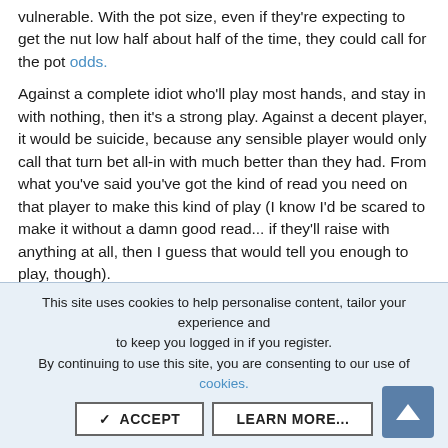vulnerable. With the pot size, even if they're expecting to get the nut low half about half of the time, they could call for the pot odds.
Against a complete idiot who'll play most hands, and stay in with nothing, then it's a strong play. Against a decent player, it would be suicide, because any sensible player would only call that turn bet all-in with much better than they had. From what you've said you've got the kind of read you need on that player to make this kind of play (I know I'd be scared to make it without a damn good read... if they'll raise with anything at all, then I guess that would tell you enough to play, though).

Nice win, though - the aggressive strategy clearly paid off by isolating the idiot, and scaring off other hands which could have beaten you, and in this case your hand dominated his
This site uses cookies to help personalise content, tailor your experience and to keep you logged in if you register.
By continuing to use this site, you are consenting to our use of cookies.